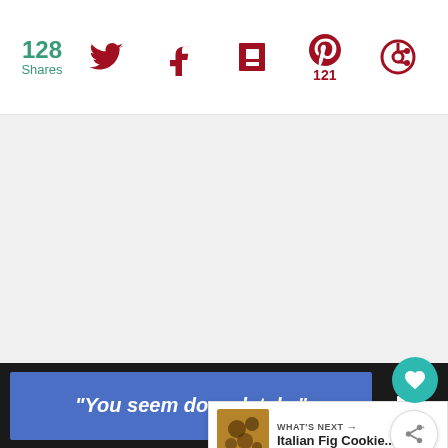128 Shares
[Figure (screenshot): Social sharing bar with Twitter, Facebook, Flipboard, Pinterest (121 shares), and another share icon in dark red]
[Figure (screenshot): Light gray content area with a teal heart/favorite floating button and a white share floating button, plus a What's Next card showing Italian Fig Cookie... thumbnail]
WHAT'S NEXT → Italian Fig Cookie...
"You seem down lately."